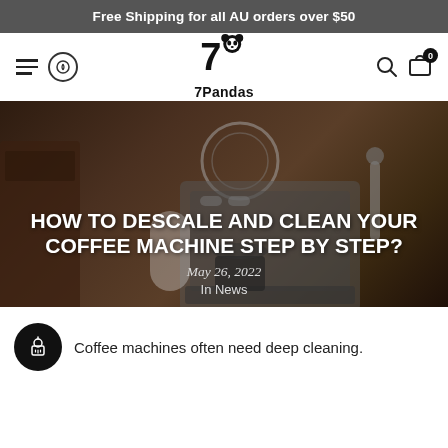Free Shipping for all AU orders over $50
[Figure (logo): 7Pandas logo — stylized panda numeral 7 with '7Pandas' text below]
[Figure (photo): Dark moody photo of an espresso coffee machine with pressure gauge, steam wand, and coffee accessories in the background]
HOW TO DESCALE AND CLEAN YOUR COFFEE MACHINE STEP BY STEP?
May 26, 2022
In News
Coffee machines often need deep cleaning.